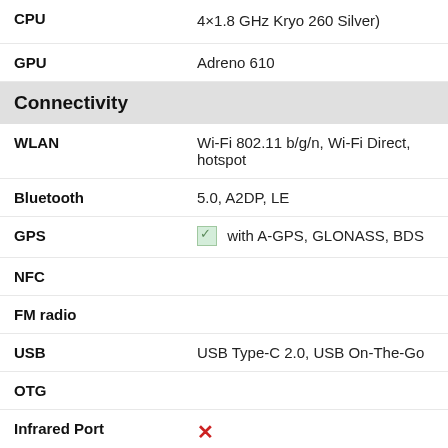| Feature | Value |
| --- | --- |
| CPU | 4×1.8 GHz Kryo 260 Silver) |
| GPU | Adreno 610 |
| Connectivity |  |
| WLAN | Wi-Fi 802.11 b/g/n, Wi-Fi Direct, hotspot |
| Bluetooth | 5.0, A2DP, LE |
| GPS | ✓ with A-GPS, GLONASS, BDS |
| NFC |  |
| FM radio |  |
| USB | USB Type-C 2.0, USB On-The-Go |
| OTG |  |
| Infrared Port | ✗ |
| Sound |  |